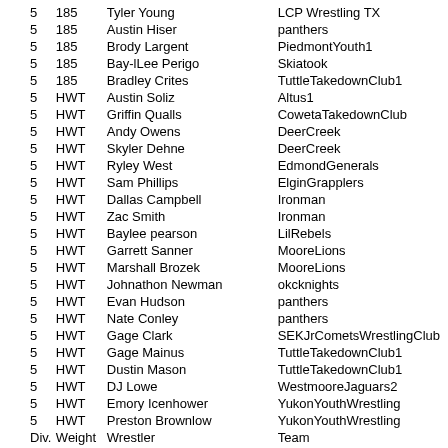| Div. | Weight | Wrestler | Team |
| --- | --- | --- | --- |
| 5 | 185 | Tyler Young | LCP Wrestling TX |
| 5 | 185 | Austin Hiser | panthers |
| 5 | 185 | Brody Largent | PiedmontYouth1 |
| 5 | 185 | Bay-lLee Perigo | Skiatook |
| 5 | 185 | Bradley Crites | TuttleTakedownClub1 |
| 5 | HWT | Austin Soliz | Altus1 |
| 5 | HWT | Griffin Qualls | CowetaTakedownClub |
| 5 | HWT | Andy Owens | DeerCreek |
| 5 | HWT | Skyler Dehne | DeerCreek |
| 5 | HWT | Ryley West | EdmondGenerals |
| 5 | HWT | Sam Phillips | ElginGrapplers |
| 5 | HWT | Dallas Campbell | Ironman |
| 5 | HWT | Zac Smith | Ironman |
| 5 | HWT | Baylee pearson | LilRebels |
| 5 | HWT | Garrett Sanner | MooreLions |
| 5 | HWT | Marshall Brozek | MooreLions |
| 5 | HWT | Johnathon Newman | okcknights |
| 5 | HWT | Evan Hudson | panthers |
| 5 | HWT | Nate Conley | panthers |
| 5 | HWT | Gage Clark | SEKJrCometsWrestlingClub |
| 5 | HWT | Gage Mainus | TuttleTakedownClub1 |
| 5 | HWT | Dustin Mason | TuttleTakedownClub1 |
| 5 | HWT | DJ Lowe | WestmooreJaguars2 |
| 5 | HWT | Emory Icenhower | YukonYouthWrestling |
| 5 | HWT | Preston Brownlow | YukonYouthWrestling |
| Div. | Weight | Wrestler | Team |